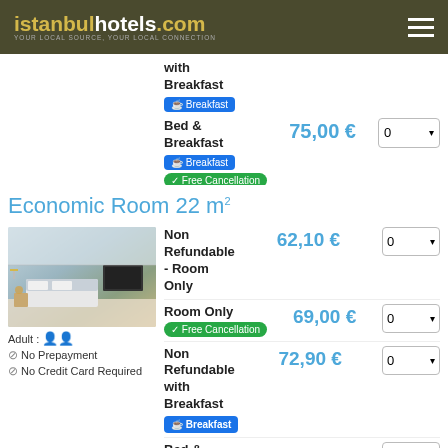istanbulhotels.com - YOUR LOCAL SOURCE, YOUR LOCAL CONNECTION
with Breakfast
Breakfast
Bed & Breakfast | 75,00 € | 0
Breakfast
Free Cancellation
Economic Room 22 m²
[Figure (photo): Hotel economic room interior with bed and TV]
Adult: [icons] No Prepayment, No Credit Card Required
Non Refundable - Room Only | 62,10 € | 0
Room Only | Free Cancellation | 69,00 € | 0
Non Refundable with Breakfast | Breakfast | 72,90 € | 0
Bed & Breakfast | 81,00 € | 0